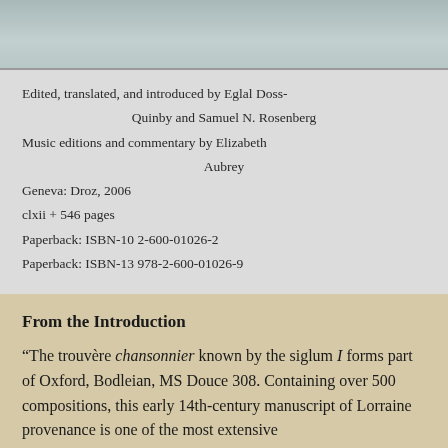[Figure (photo): Top portion of a book cover or image, grayish-blue tones]
Edited, translated, and introduced by Eglal Doss-Quinby and Samuel N. Rosenberg
Music editions and commentary by Elizabeth Aubrey
Geneva: Droz, 2006
clxii + 546 pages
Paperback: ISBN-10 2-600-01026-2
Paperback: ISBN-13 978-2-600-01026-9
From the Introduction
“The trouvère chansonnier known by the siglum I forms part of Oxford, Bodleian, MS Douce 308. Containing over 500 compositions, this early 14th-century manuscript of Lorraine provenance is one of the most extensive